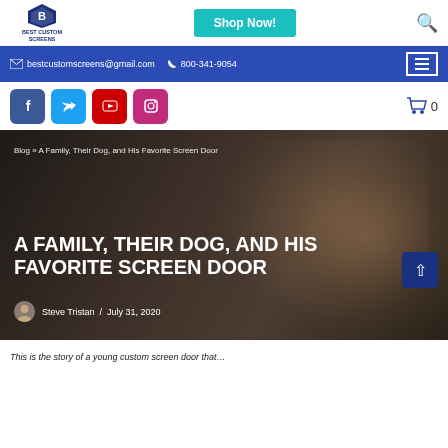[Figure (logo): Best Custom Screens logo with shield icon and company name]
Shop Now!
bestcustomscreens@gmail.com  800-341-9054
Blog » A Family, Their Dog, and His Favorite Screen Door
A FAMILY, THEIR DOG, AND HIS FAVORITE SCREEN DOOR
Steve Tristan  /  July 31, 2020